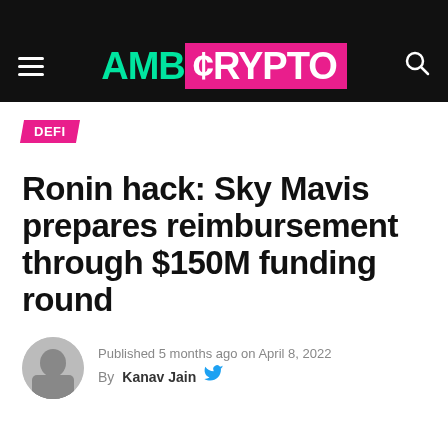AMB Crypto
DEFI
Ronin hack: Sky Mavis prepares reimbursement through $150M funding round
Published 5 months ago on April 8, 2022
By Kanav Jain